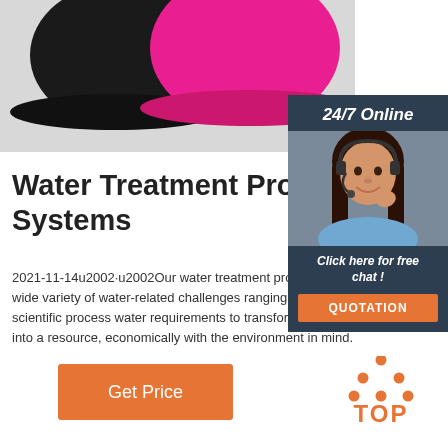[Figure (photo): Product photo showing a black hat and a pink/magenta hat on a light grey background]
[Figure (photo): 24/7 Online customer service sidebar with a photo of a woman wearing a headset, a 'Click here for free chat!' message, and an orange QUOTATION button]
Water Treatment Products Systems
2021-11-14u2002·u2002Our water treatment products address a wide variety of water-related challenges ranging from industrial and scientific process water requirements to transforming water waste into a resource, economically with the environment in mind.
[Figure (other): Orange 'Get Price' button]
[Figure (logo): TOP logo with orange dots arranged in a triangle above the word TOP]